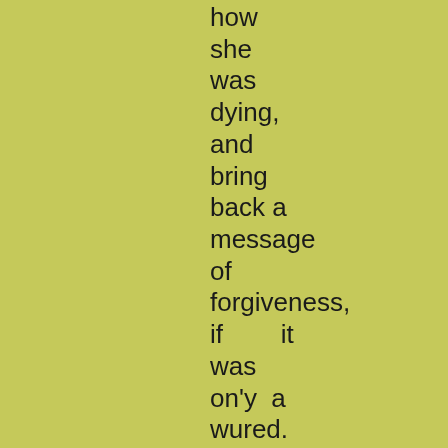how
she
was
dying,
and
bring
back a
message
of
forgiveness,
if        it
was
on'y  a
wured.
A'most
the
whole
time,
she